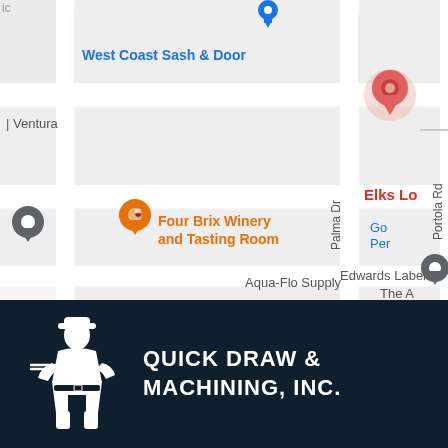[Figure (map): Google Maps screenshot showing streets including Palma Dr and Portola Rd, with landmarks: West Coast Sash & Door (blue label), Four Brix Winery and Tasting Room (orange pin and label), Aqua-Flo Supply (gray pin), a red location pin, Elks Lo..., Go Per..., Edwards Label, The A... visible on right side. Gray pin on left edge.]
[Figure (logo): Quick Draw & Machining, Inc. logo on dark navy background. White knight/cowboy figure silhouette on left, white bold text QUICK DRAW & MACHINING, INC. on right.]